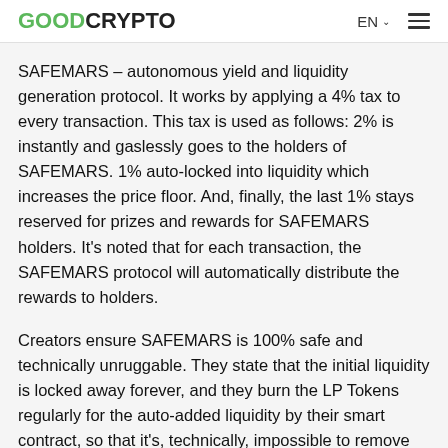GOODCRYPTO EN ☰
SAFEMARS – autonomous yield and liquidity generation protocol. It works by applying a 4% tax to every transaction. This tax is used as follows: 2% is instantly and gaslessly goes to the holders of SAFEMARS. 1% auto-locked into liquidity which increases the price floor. And, finally, the last 1% stays reserved for prizes and rewards for SAFEMARS holders. It's noted that for each transaction, the SAFEMARS protocol will automatically distribute the rewards to holders.
Creators ensure SAFEMARS is 100% safe and technically unruggable. They state that the initial liquidity is locked away forever, and they burn the LP Tokens regularly for the auto-added liquidity by their smart contract, so that it's, technically, impossible to remove liquidity at any time.